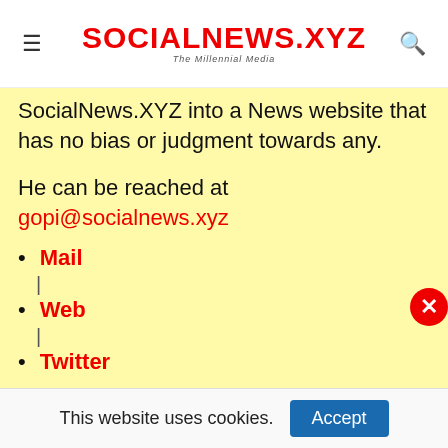SOCIALNEWS.XYZ — The Millennial Media
SocialNews.XYZ into a News website that has no bias or judgment towards any.
He can be reached at gopi@socialnews.xyz
Mail
Web
Twitter
This website uses cookies.